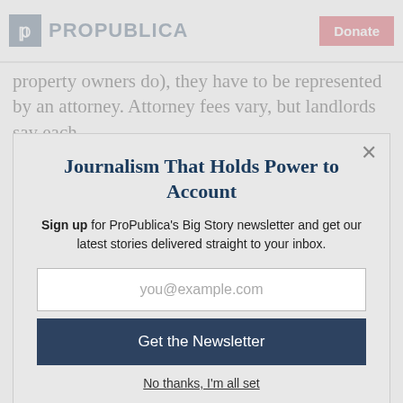ProPublica | Donate
property owners do), they have to be represented by an attorney. Attorney fees vary, but landlords say each
Journalism That Holds Power to Account
Sign up for ProPublica's Big Story newsletter and get our latest stories delivered straight to your inbox.
you@example.com
Get the Newsletter
No thanks, I'm all set
This site is protected by reCAPTCHA and the Google Privacy Policy and Terms of Service apply.